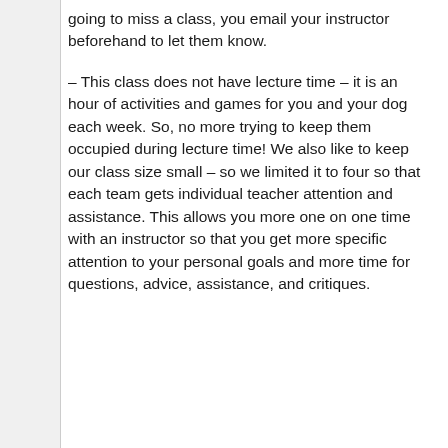going to miss a class, you email your instructor beforehand to let them know.
– This class does not have lecture time – it is an hour of activities and games for you and your dog each week. So, no more trying to keep them occupied during lecture time! We also like to keep our class size small – so we limited it to four so that each team gets individual teacher attention and assistance. This allows you more one on one time with an instructor so that you get more specific attention to your personal goals and more time for questions, advice, assistance, and critiques.